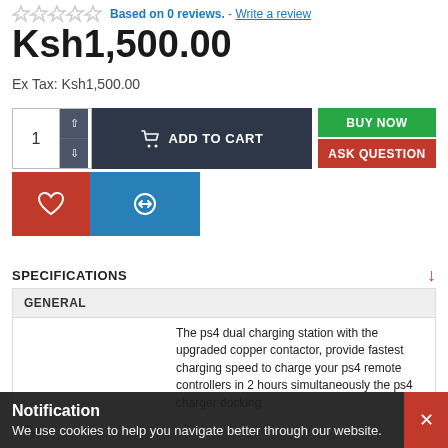Based on 0 reviews. - Write a review
Ksh1,500.00
Ex Tax: Ksh1,500.00
[Figure (screenshot): Add to cart UI with quantity selector, ADD TO CART button, BUY NOW and ASK QUESTION buttons]
[Figure (screenshot): Wishlist (heart) and Compare (arrows) icon buttons]
SPECIFICATIONS
| GENERAL |
| --- |
| The ps4 dual charging station with the upgraded copper contactor, provide fastest charging speed to charge your ps4 remote controllers in 2 hours simultaneously the ps4 charger docking... |
Type
Notification
We use cookies to help you navigate better through our website.